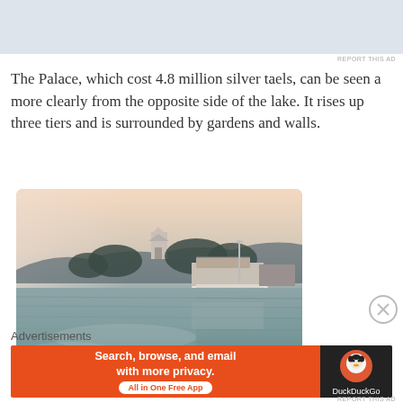[Figure (other): Gray advertisement placeholder banner at the top of the page]
REPORT THIS AD
The Palace, which cost 4.8 million silver taels, can be seen a more clearly from the opposite side of the lake. It rises up three tiers and is surrounded by gardens and walls.
[Figure (photo): Photograph of a lake with Chinese palace architecture along the shore, trees on a hillside, and a pagoda visible in the background. The light is warm and hazy, suggesting early morning or dusk. A boat is near a white marble dock.]
[Figure (other): DuckDuckGo advertisement banner with orange background reading: Search, browse, and email with more privacy. All in One Free App, with DuckDuckGo logo on the right side.]
REPORT THIS AD